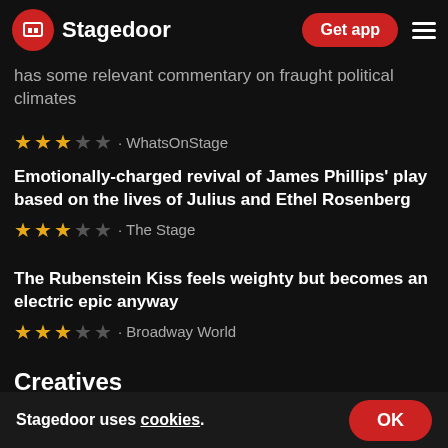Stagedoor | Get app
At two hours and forty five minutes it's a long show and it suffers slight dips in pacing, but it has some relevant commentary on fraught political climates
★★★☆☆ · WhatsOnStage
Emotionally-charged revival of James Phillips' play based on the lives of Julius and Ethel Rosenberg
★★★☆☆ · The Stage
The Rubenstein Kiss feels weighty but becomes an electric epic anyway
★★★☆☆ · Broadway World
Creatives
Follow them on the Stagedoor app and get notified when they're in a new show.
Stagedoor uses cookies.  OK